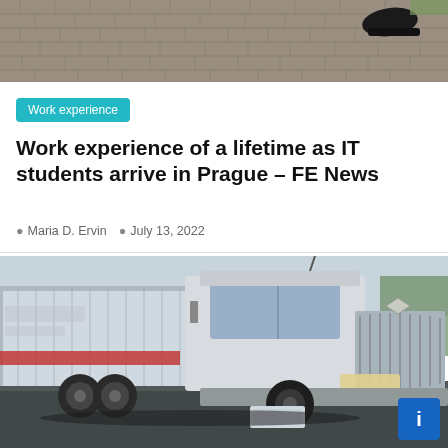[Figure (photo): Top portion of a cobblestone street with a person's shoe visible at top right]
Work experience
Work experience of a lifetime as IT students arrive in Prague – FE News
Maria D. Ervin   July 13, 2022
[Figure (photo): Close-up photo of a large white semi-truck / tractor-trailer on the road, showing the front cab and chrome grille]